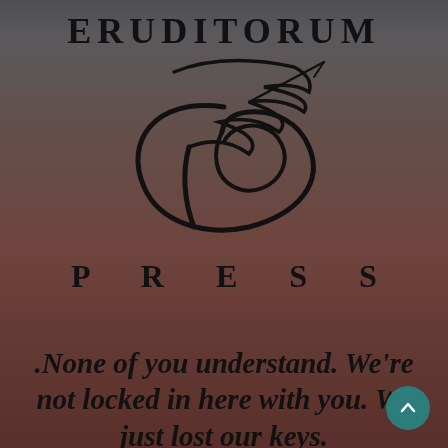ERUDITORUM
[Figure (logo): Eruditorum Press stylized 'EP' calligraphic logo mark in black ink]
P R E S S
.None of you understand. We're not locked in here with you. We just lost our keys.